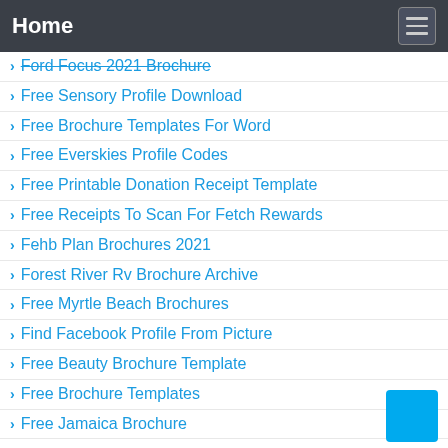Home
Ford Focus 2021 Brochure
Free Sensory Profile Download
Free Brochure Templates For Word
Free Everskies Profile Codes
Free Printable Donation Receipt Template
Free Receipts To Scan For Fetch Rewards
Fehb Plan Brochures 2021
Forest River Rv Brochure Archive
Free Myrtle Beach Brochures
Find Facebook Profile From Picture
Free Beauty Brochure Template
Free Brochure Templates
Free Jamaica Brochure